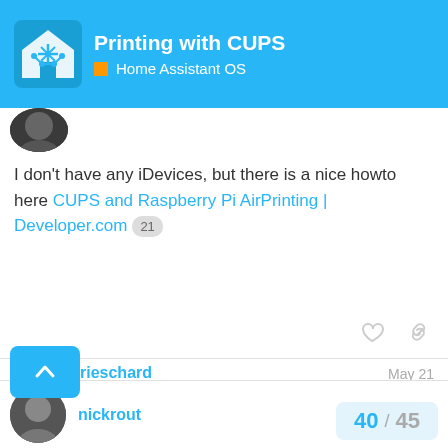Printing with CUPS | Home Assistant OS
[Figure (logo): Home Assistant logo icon on blue background]
I don't have any iDevices, but there is a nice howto here CUPS and Raspberry Pi AirPrinting | Developer.com  21
rieschard Riesch May 21
[Figure (photo): rieschard user avatar - pixel art style icon]
I installed the ncarr addon, it works printing a test page from cups interface. But not airprint. Has anyone succeeded airprinting through the ncarr addon?
nickrout  May 21
40 / 45